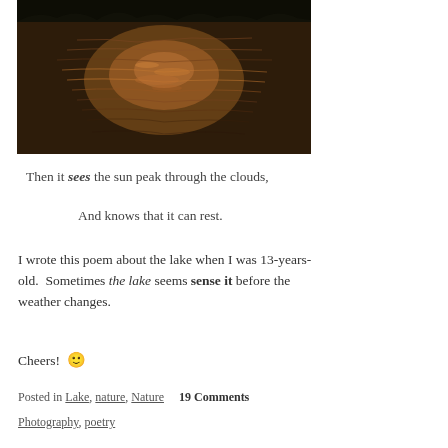[Figure (photo): A lake surface reflecting golden-orange sunlight with dark treeline silhouette at the top]
Then it sees the sun peak through the clouds,
And knows that it can rest.
I wrote this poem about the lake when I was 13-years-old.  Sometimes the lake seems sense it before the weather changes.
Cheers! 🙂
Posted in Lake, nature, Nature    19 Comments
Photography, poetry